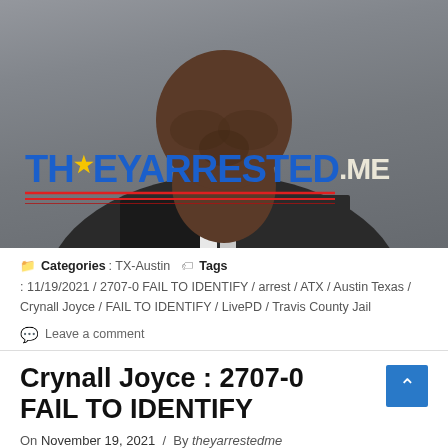[Figure (photo): Mugshot of Crynall Joyce, a man in a black and white shirt, shown from chin to chest against a gray background. TheyArrested.Me watermark visible in red and blue text.]
Categories : TX-Austin   Tags : 11/19/2021 / 2707-0 FAIL TO IDENTIFY / arrest / ATX / Austin Texas / Crynall Joyce / FAIL TO IDENTIFY / LivePD / Travis County Jail
Leave a comment
Crynall Joyce : 2707-0 FAIL TO IDENTIFY
On November 19, 2021  /  By theyarrestedme